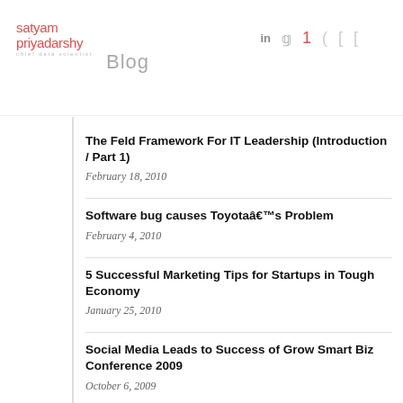satyam priyadarshy Blog
The Feld Framework For IT Leadership (Introduction / Part 1)
February 18, 2010
Software bug causes Toyotaâ€™s Problem
February 4, 2010
5 Successful Marketing Tips for Startups in Tough Economy
January 25, 2010
Social Media Leads to Success of Grow Smart Biz Conference 2009
October 6, 2009